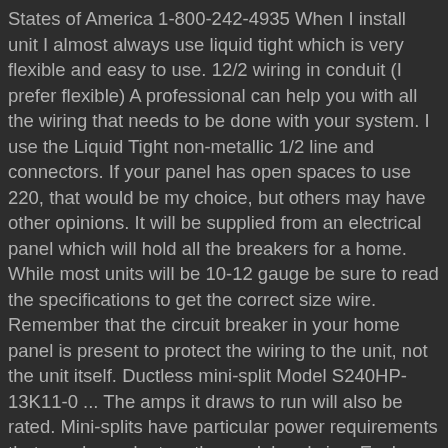States of America 1-800-242-4935 When I install unit I almost always use liquid tight which is very flexible and easy to use. 12/2 wiring in conduit (I prefer flexible) A professional can help you with all the wiring that needs to be done with your system. I use the Liquid Tight non-metallic 1/2 line and connectors. If your panel has open spaces to use 220, that would be my choice, but others may have other opinions. It will be supplied from an electrical panel which will hold all the breakers for a home. While most units will be 10-12 gauge be sure to read the specifications to get the correct size wire. Remember that the circuit breaker in your home panel is present to protect the wiring to the unit, not the unit itself. Ductless mini-split Model S240HP-13K11-0 ... The amps it draws to run will also be rated. Mini-splits have particular power requirements that are dependent on the model and size. Each one was a individual line from the outdoor unit. The lower the wire gauge, the thicker it is. Required fields are marked *. Summary. In this article, we will talk about all the things you need